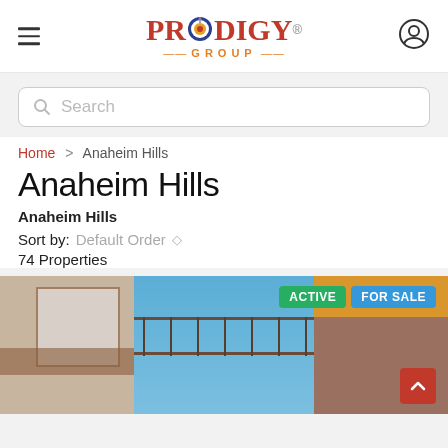[Figure (logo): Prodigy Group logo with target bullseye icon in the letter O]
Search
Home > Anaheim Hills
Anaheim Hills
Anaheim Hills
Sort by: Default Order
74 Properties
[Figure (photo): Exterior photo of a residential property with balcony and iron railings, ACTIVE and FOR SALE badges visible]